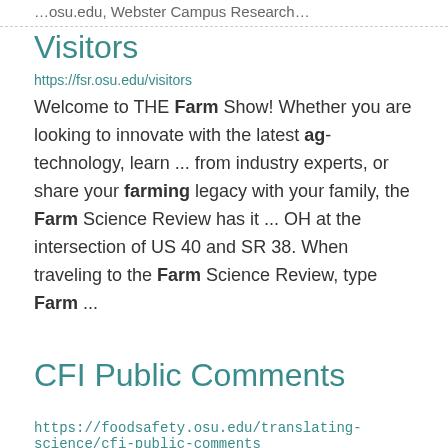…osu.edu, Webster Campus Research…
Visitors
https://fsr.osu.edu/visitors
Welcome to THE Farm Show! Whether you are looking to innovate with the latest ag-technology, learn ... from industry experts, or share your farming legacy with your family, the Farm Science Review has it ... OH at the intersection of US 40 and SR 38. When traveling to the Farm Science Review, type Farm ...
CFI Public Comments
https://foodsafety.osu.edu/translating-science/cfi-public-comments